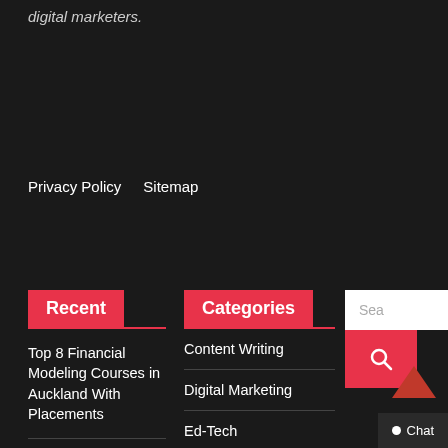digital marketers.
Privacy Policy   Sitemap
Recent
Categories
Top 8 Financial Modeling Courses in Auckland With Placements
Top 7 Business Accounting and Taxation Courses in Pune
Top 5 Business Accounting and Taxation Courses...
Content Writing
Digital Marketing
Ed-Tech
Finance
Financial Modeling
Indian Education
News
Professional